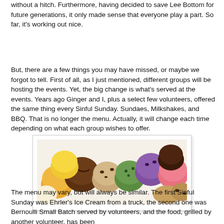without a hitch.  Furthermore, having decided to save Lee Bottom for future generations, it only made sense that everyone play a part.  So far, it's working out nice.
But, there are a few things you may have missed, or maybe we forgot to tell.  First of all, as I just mentioned, different groups will be hosting the events.  Yet, the big change is what's served at the events.  Years ago Ginger and I, plus a select few volunteers, offered the same thing every Sinful Sunday.  Sundaes, Milkshakes, and BBQ.  That is no longer the menu.  Actually, it will change each time depending on what each group wishes to offer.
[Figure (photo): A colorful array of ice cream scoops in various flavors including chocolate, vanilla, strawberry, green (likely mint or pistachio), purple, and others, piled together.]
The menu may vary, but will always be similar.  The first Sinful Sunday was Ehrler's Ice Cream from a truck, the second one was Bernoulli Small Batch served by volunteers, and the food, grilled by another volunteer, has been